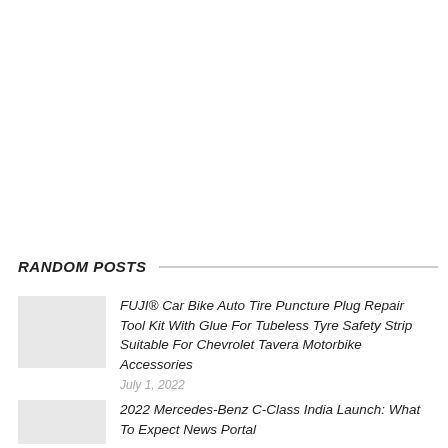RANDOM POSTS
FUJI® Car Bike Auto Tire Puncture Plug Repair Tool Kit With Glue For Tubeless Tyre Safety Strip Suitable For Chevrolet Tavera Motorbike Accessories
July 1, 2022
2022 Mercedes-Benz C-Class India Launch: What To Expect News Portal